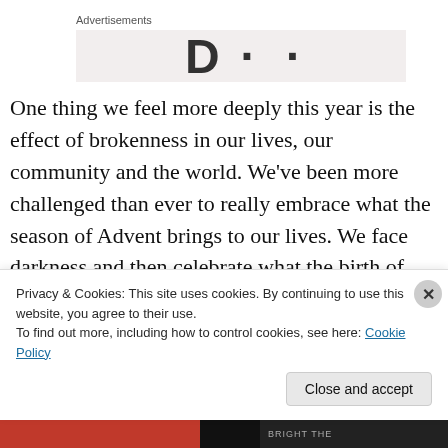Advertisements
[Figure (other): Advertisement banner placeholder with partial large bold text visible on grey background]
One thing we feel more deeply this year is the effect of brokenness in our lives, our community and the world. We’ve been more challenged than ever to really embrace what the season of Advent brings to our lives. We face darkness and then celebrate what the birth of Christ means for us, “not as a saccharine act of delusion but as a
Privacy & Cookies: This site uses cookies. By continuing to use this website, you agree to their use.
To find out more, including how to control cookies, see here: Cookie Policy
Close and accept